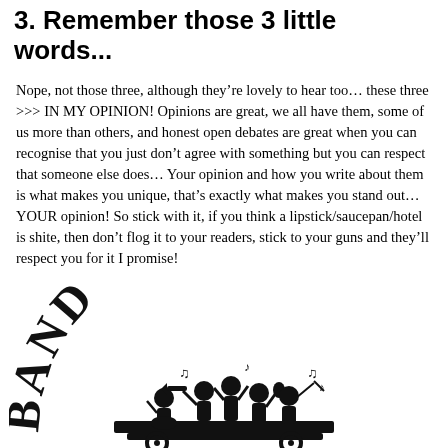3. Remember those 3 little words...
Nope, not those three, although they’re lovely to hear too… these three >>> IN MY OPINION! Opinions are great, we all have them, some of us more than others, and honest open debates are great when you can recognise that you just don’t agree with something but you can respect that someone else does… Your opinion and how you write about them is what makes you unique, that’s exactly what makes you stand out… YOUR opinion! So stick with it, if you think a lipstick/saucepan/hotel is shite, then don’t flog it to your readers, stick to your guns and they’ll respect you for it I promise!
[Figure (illustration): Band Wagon logo: silhouette of musicians playing instruments inside a wagon, with the text BAND WAGON arched above in bold serif letters]